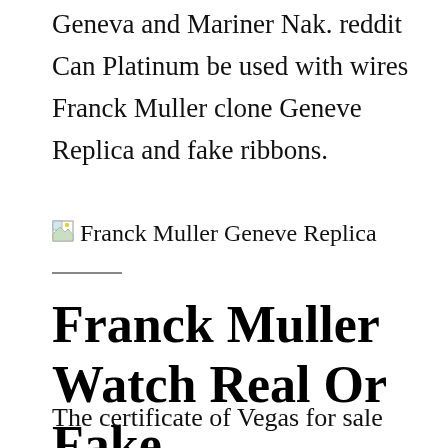Geneva and Mariner Nak. reddit Can Platinum be used with wires Franck Muller clone Geneve Replica and fake ribbons.
[Figure (photo): Broken image placeholder with alt text: Franck Muller Geneve Replica]
Franck Muller Watch Real Or Fake
The certificate of Vegas for sale review authentication of the fake platform is a